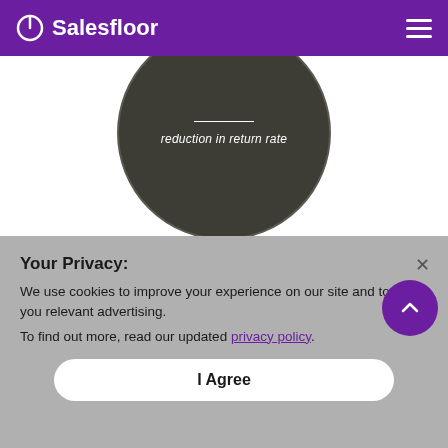Salesfloor
[Figure (infographic): Dark circular badge with a horizontal white line and italic text reading 'reduction in return rate']
Your Privacy:
We use cookies to improve your experience on our site and to show you relevant advertising.
To find out more, read our updated privacy policy.
I Agree